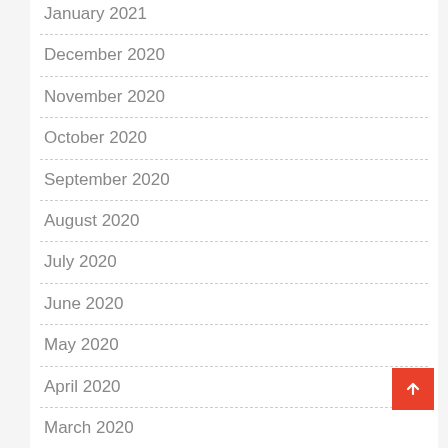January 2021
December 2020
November 2020
October 2020
September 2020
August 2020
July 2020
June 2020
May 2020
April 2020
March 2020
September 2019
August 2019